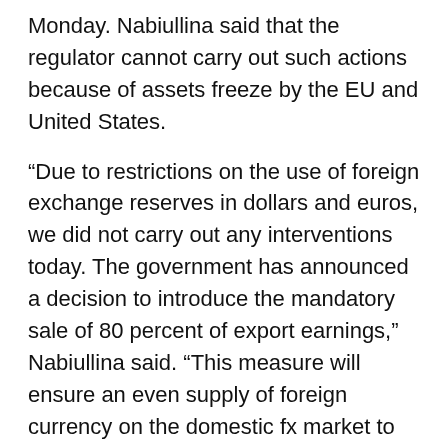Monday. Nabiullina said that the regulator cannot carry out such actions because of assets freeze by the EU and United States.
“Due to restrictions on the use of foreign exchange reserves in dollars and euros, we did not carry out any interventions today. The government has announced a decision to introduce the mandatory sale of 80 percent of export earnings,” Nabiullina said. “This measure will ensure an even supply of foreign currency on the domestic fx market to meet the needs of importers and citizens. At the same time we are taking a number of steps to limit export of capital by non-residents.”
A day after Russia’s invasion of Ukraine, President Joe Biden announced that he would place sanctions on more Russian banks, Russian President Vladimir Putin and his inner circle, and Russian sovereign debt.